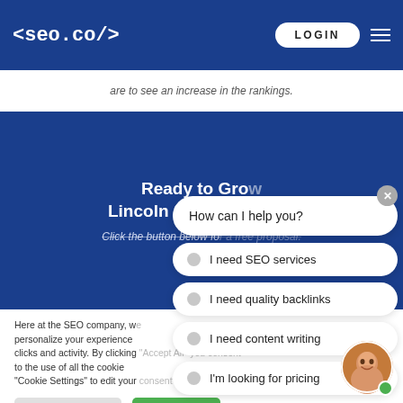<seo.co/> LOGIN
are to see an increase in the rankings.
Ready to Grow Lincoln SEO Services?
Click the button below for a free proposal.
[Figure (screenshot): Chat widget with question 'How can I help you?' and options: I need SEO services, I need quality backlinks, I need content writing, I'm looking for pricing. Close button top right. Avatar bottom right.]
Here at the SEO company, we personalize your experience clicks and activity. By clicking "Accept All" you consent to the use of all the cookie "Cookie Settings" to edit your consent settings.
Cookie Settings    Accept All